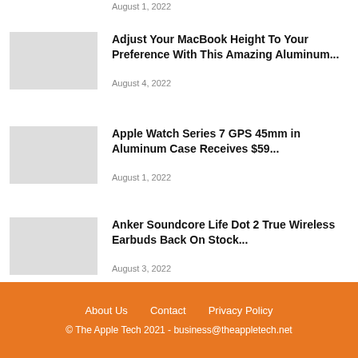August 1, 2022
Adjust Your MacBook Height To Your Preference With This Amazing Aluminum...
August 4, 2022
Apple Watch Series 7 GPS 45mm in Aluminum Case Receives $59...
August 1, 2022
Anker Soundcore Life Dot 2 True Wireless Earbuds Back On Stock...
August 3, 2022
About Us   Contact   Privacy Policy
© The Apple Tech 2021 - business@theappletech.net